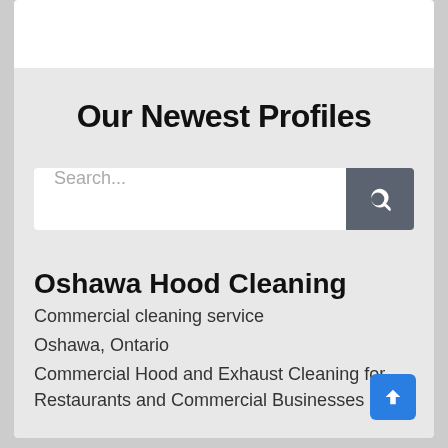Our Newest Profiles
[Figure (screenshot): Search input field with a grey search button on the right containing a magnifying glass icon]
Oshawa Hood Cleaning
Commercial cleaning service
Oshawa, Ontario
Commercial Hood and Exhaust Cleaning for Restaurants and Commercial Businesses